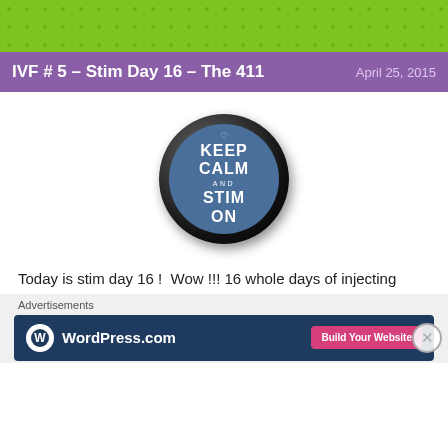IVF # 5 – Stim Day 16 – The 411   April 25, 2015
[Figure (photo): A round button/magnet with a blue background showing a heart outline and the text 'KEEP CALM AND STIM ON' in white letters, set against a dark metallic outer ring.]
Today is stim day 16 !  Wow !!! 16 whole days of injecting
Advertisements
[Figure (other): WordPress.com advertisement banner with logo and 'Build Your Website' button]